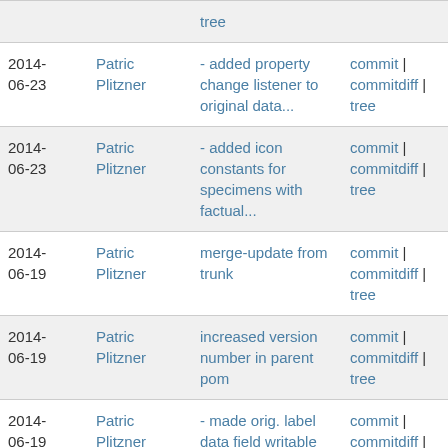| Date | Author | Commit message | Actions |
| --- | --- | --- | --- |
|  |  | tree |  |
| 2014-06-23 | Patric Plitzner | - added property change listener to original data... | commit | commitdiff | tree |
| 2014-06-23 | Patric Plitzner | - added icon constants for specimens with factual... | commit | commitdiff | tree |
| 2014-06-19 | Patric Plitzner | merge-update from trunk | commit | commitdiff | tree |
| 2014-06-19 | Patric Plitzner | increased version number in parent pom | commit | commitdiff | tree |
| 2014-06-19 | Patric Plitzner | - made orig. label data field writable | commit | commitdiff | tree |
| 2014-06-19 | Patric Plitzner | - reverted showing the label date in the section title | commit | commitdiff | tree |
| 2014-06-19 | Patric Plitzner | - removed debug output | commit | commitdiff | |